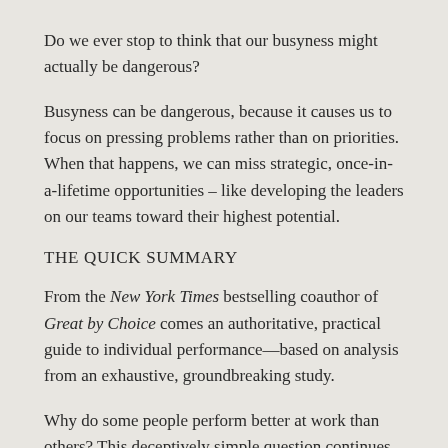Do we ever stop to think that our busyness might actually be dangerous?
Busyness can be dangerous, because it causes us to focus on pressing problems rather than on priorities. When that happens, we can miss strategic, once-in-a-lifetime opportunities – like developing the leaders on our teams toward their highest potential.
THE QUICK SUMMARY
From the New York Times bestselling coauthor of Great by Choice comes an authoritative, practical guide to individual performance—based on analysis from an exhaustive, groundbreaking study.
Why do some people perform better at work than others? This deceptively simple question continues to confound professionals in all sectors of the